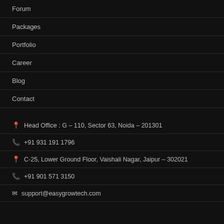Forum
Packages
Portfolio
Career
Blog
Contact
Head Office : G – 110, Sector 63, Noida – 201301
+91 931 191 1796
C-25, Lower Ground Floor, Vaishali Nagar, Jaipur – 302021
+91 901 571 3150
support@easygrowtech.com